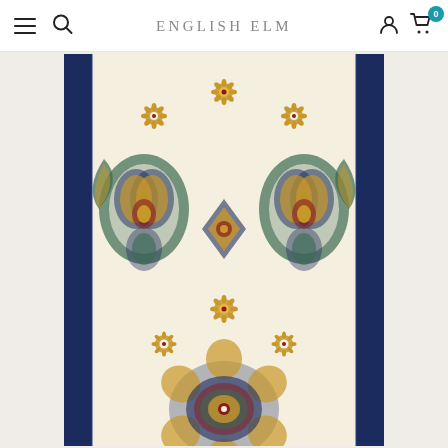English Elm — navigation header with hamburger menu, search, account, and cart icons
[Figure (photo): Close-up product photo of a decorative area rug with cream/ivory background featuring intricate medallion and floral motifs in gold, navy blue, red, and sage green. The rug has a dark navy blue border on the sides and displays traditional Persian/Oriental style patterns including large central medallion, smaller floral rosettes scattered across the field, and ornate corner pieces.]